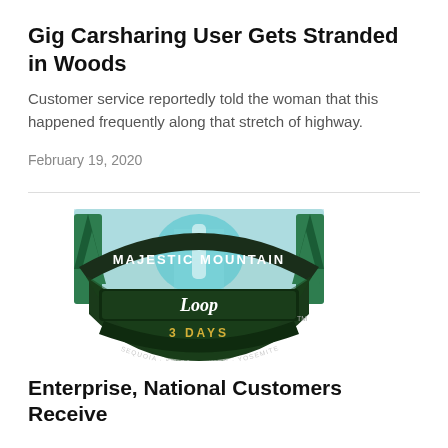Gig Carsharing User Gets Stranded in Woods
Customer service reportedly told the woman that this happened frequently along that stretch of highway.
February 19, 2020
[Figure (logo): Majestic Mountain Loop 3 Days logo — circular emblem with dark green banner, teal mountain/waterfall scene, text reading MAJESTIC MOUNTAIN Loop 3 DAYS, SEQUOIA · KINGS CANYON · YOSEMITE, TM mark]
Enterprise, National Customers Receive